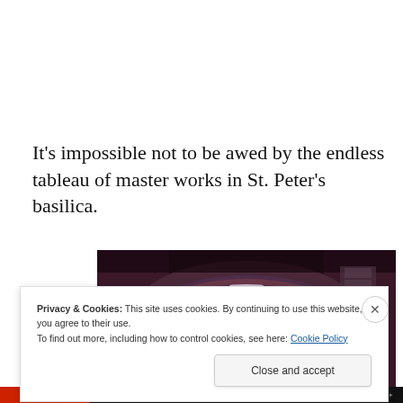It's impossible not to be awed by the endless tableau of master works in St. Peter's basilica.
[Figure (photo): Interior view of St. Peter's Basilica showing the grand arch and dome with ornate decorations, warm golden lighting on the sides and a bright opening at the center of the arch.]
Privacy & Cookies: This site uses cookies. By continuing to use this website, you agree to their use.
To find out more, including how to control cookies, see here: Cookie Policy
Close and accept